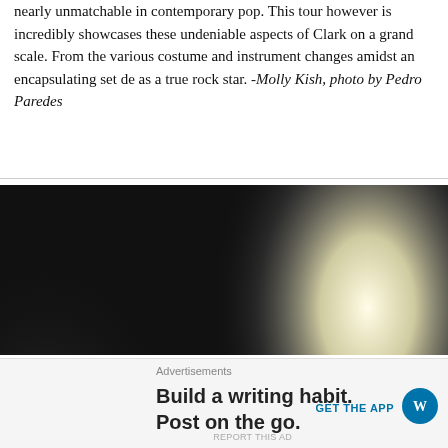nearly unmatchable in contemporary pop. This tour however is incredibly showcases these undeniable aspects of Clark on a grand scale. From the various costume and instrument changes amidst an encapsulating set de as a true rock star. -Molly Kish, photo by Pedro Paredes
[Figure (photo): Concert photo of a male musician with long curly hair and a blue cap, wearing a white t-shirt, playing guitar and singing into a microphone against a dark background with bright stage lighting.]
Advertisements
Build a writing habit. Post on the go.
GET THE APP